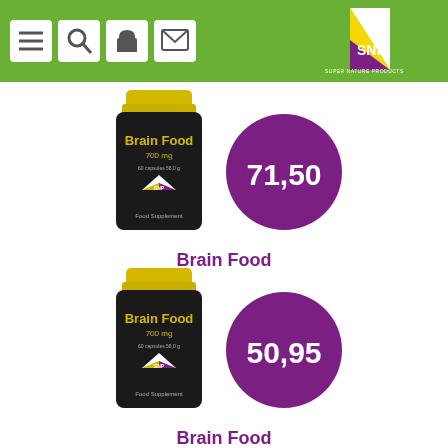[Figure (screenshot): Green navigation header bar with menu, search, cart, and email icons on the left, and SNP (Super Nature Products) logo on the right]
[Figure (photo): SNP Brain Food 700mg supplement bottle (black with yellow cap) with purple price circle showing 71,50]
Brain Food
[Figure (photo): SNP Brain Food 700mg supplement bottle (black with yellow cap) with purple price circle showing 50,95]
Brain Food